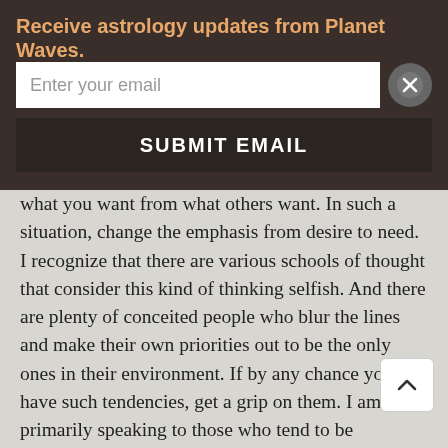Receive astrology updates from Planet Waves.
what you want from what others want. In such a situation, change the emphasis from desire to need. I recognize that there are various schools of thought that consider this kind of thinking selfish. And there are plenty of conceited people who blur the lines and make their own priorities out to be the only ones in their environment. If by any chance you have such tendencies, get a grip on them. I am primarily speaking to those who tend to be squashed out of the way, or to have their needs subverted to more assertive people. It's necessary to act before you feel yourself revert to resentment or frustration, and if you are there...